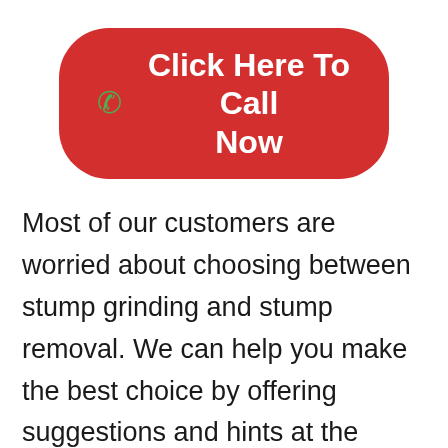[Figure (other): Red rounded-rectangle call-to-action button with green phone icon and white text reading 'Click Here To Call Now']
Most of our customers are worried about choosing between stump grinding and stump removal. We can help you make the best choice by offering suggestions and hints at the advantages of one over the other and which best suits your needs.